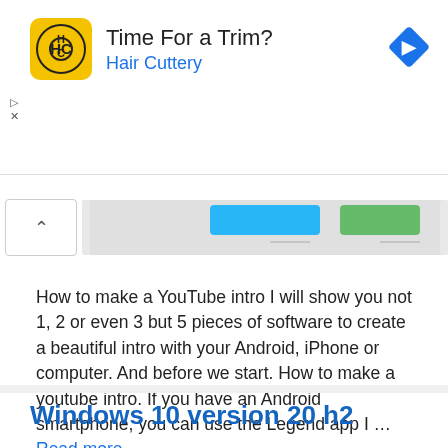[Figure (screenshot): Advertisement banner for Hair Cuttery with yellow logo, title 'Time For a Trim?', subtitle 'Hair Cuttery' in blue, and a blue diamond navigation arrow icon on the right. Small play and X controls on the left side.]
[Figure (screenshot): Partial image strip showing a collapsed view with an upward chevron button on the left and a preview image area on the right with blue and green elements visible.]
How to make a YouTube intro I will show you not 1, 2 or even 3 but 5 pieces of software to create a beautiful intro with your Android, iPhone or computer. And before we start. How to make a youtube intro. If you have an Android smartphone, you can use the Legend app I … Read more
Windows 10 version 20 h2